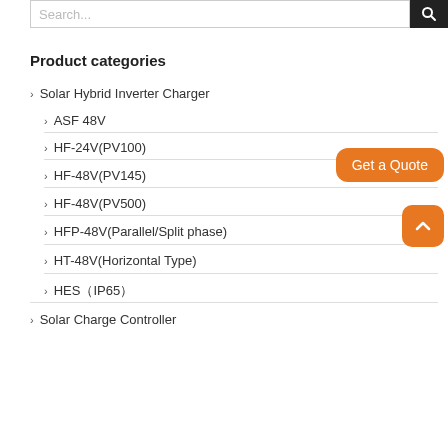Search...
Product categories
Solar Hybrid Inverter Charger
ASF 48V
HF-24V(PV100)
HF-48V(PV145)
HF-48V(PV500)
HFP-48V(Parallel/Split phase)
HT-48V(Horizontal Type)
HES（IP65）
Solar Charge Controller